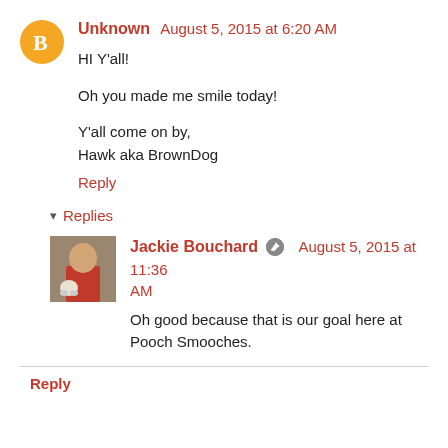Unknown  August 5, 2015 at 6:20 AM
HI Y'all!

Oh you made me smile today!

Y'all come on by,
Hawk aka BrownDog
Reply
▾ Replies
[Figure (photo): Profile photo of Jackie Bouchard showing a woman with a dog]
Jackie Bouchard  August 5, 2015 at 11:36 AM
Oh good because that is our goal here at Pooch Smooches.
Reply